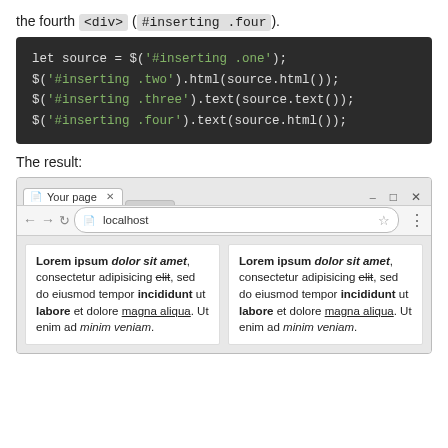the fourth <div> (#inserting .four).
[Figure (screenshot): Dark code block showing jQuery JavaScript code: let source = $('#inserting .one'); $('#inserting .two').html(source.html()); $('#inserting .three').text(source.text()); $('#inserting .four').text(source.html());]
The result:
[Figure (screenshot): Browser window mockup showing localhost page with two white content cards side by side, both containing Lorem ipsum text with bold, italic, strikethrough, and underline formatting.]